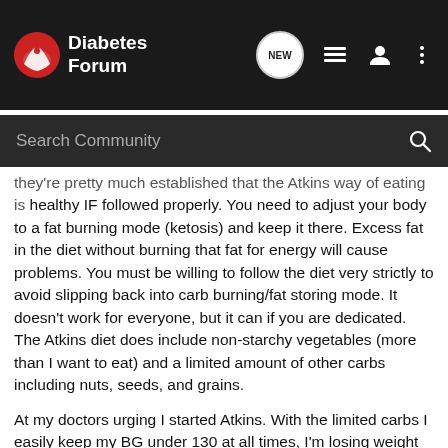Diabetes Forum
they're pretty much established that the Atkins way of eating is healthy IF followed properly. You need to adjust your body to a fat burning mode (ketosis) and keep it there. Excess fat in the diet without burning that fat for energy will cause problems. You must be willing to follow the diet very strictly to avoid slipping back into carb burning/fat storing mode. It doesn't work for everyone, but it can if you are dedicated. The Atkins diet does include non-starchy vegetables (more than I want to eat) and a limited amount of other carbs including nuts, seeds, and grains.
At my doctors urging I started Atkins. With the limited carbs I easily keep my BG under 130 at all times, I'm losing weight (a BIG plus for diabetes control), and I'm no longer hungry all the time. As a diabetic, I'm permanently on a low carb diet anyway.
I originally thought staying off medications was a good goal but